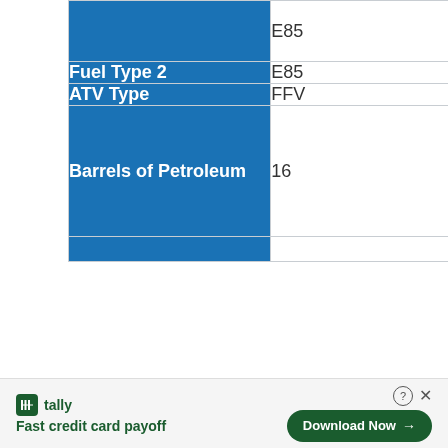| Field | Value |
| --- | --- |
| (partial - cut off) | E85 |
| Fuel Type 2 | E85 |
| ATV Type | FFV |
| Barrels of Petroleum | 16 |
| (partial - cut off) | (partial) |
[Figure (other): Tally advertisement banner: 'Fast credit card payoff' with Download Now button]